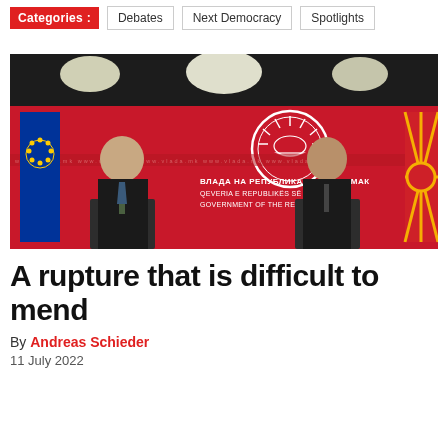Categories: Debates | Next Democracy | Spotlights
[Figure (photo): Two men in suits standing at podiums in front of a red backdrop reading 'ВЛАДА НА РЕПУБЛИКА СЕВЕРНА МАК / QEVERIA E REPUBLIKËS SË MAQEDONI / GOVERNMENT OF THE REPUBLIC OF NO', with an EU flag on the left and a North Macedonia flag on the right.]
A rupture that is difficult to mend
By Andreas Schieder
11 July 2022